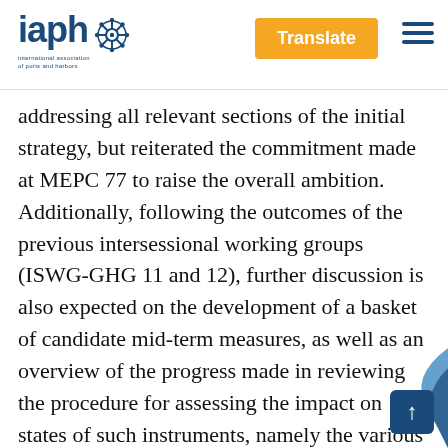iaph [logo with helm icon] | Translate | [hamburger menu]
addressing all relevant sections of the initial strategy, but reiterated the commitment made at MEPC 77 to raise the overall ambition. Additionally, following the outcomes of the previous intersessional working groups (ISWG-GHG 11 and 12), further discussion is also expected on the development of a basket of candidate mid-term measures, as well as an overview of the progress made in reviewing the procedure for assessing the impact on states of such instruments, namely the various carbon pricing mechanisms that were presented and discussed at ISWG-GHG 12. Further documents on the agenda this week that are of partic